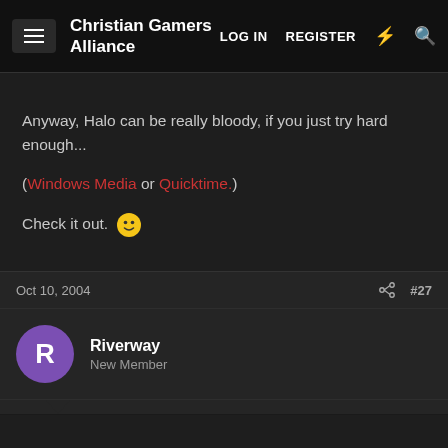Christian Gamers Alliance  LOG IN  REGISTER
Anyway, Halo can be really bloody, if you just try hard enough...

(Windows Media or Quicktime.)

Check it out. 🙂
Oct 10, 2004  #27
Riverway
New Member
One game that scared me was Carnivores...

I was only about 8... it's understandible.